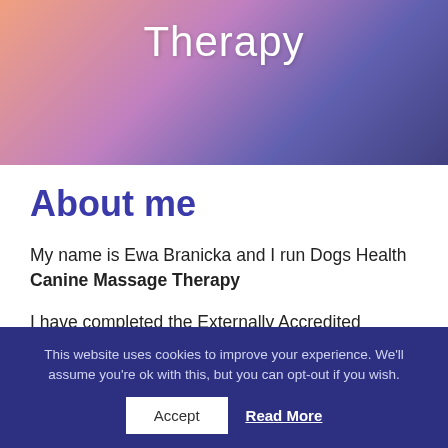[Figure (illustration): Header banner with purple-pink gradient background and the word 'Therapy' in white text at the top]
About me
My name is Ewa Branicka and I run Dogs Health Canine Massage Therapy
I have completed the Externally Accredited Therapeutic Canine Massage Diploma with the Canine Massage Therapy Centre Ltd (2 year course).
This website uses cookies to improve your experience. We'll assume you're ok with this, but you can opt-out if you wish.